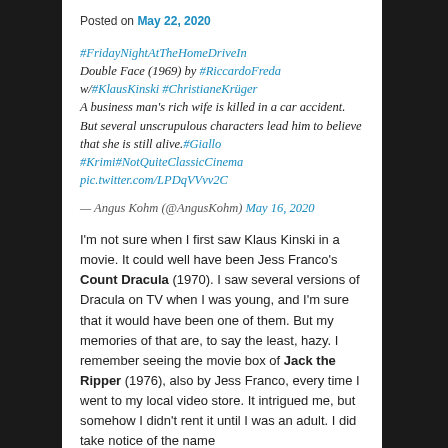Posted on May 22, 2020
#FridayNightAtTheHomeDriveIn
Double Face (1969) by #RiccardoFreda
w/#KlausKinski #ChristianeKrüger
A business man's rich wife is killed in a car accident. But several unscrupulous characters lead him to believe that she is still alive.#Giallo #Krimi#NotQuiteClassicCinema
pic.twitter.com/LPDqVVvv2C
— Angus Kohm (@AngusKohm) May 16, 2020
I'm not sure when I first saw Klaus Kinski in a movie. It could well have been Jess Franco's Count Dracula (1970). I saw several versions of Dracula on TV when I was young, and I'm sure that it would have been one of them. But my memories of that are, to say the least, hazy. I remember seeing the movie box of Jack the Ripper (1976), also by Jess Franco, every time I went to my local video store. It intrigued me, but somehow I didn't rent it until I was an adult. I did take notice of the name